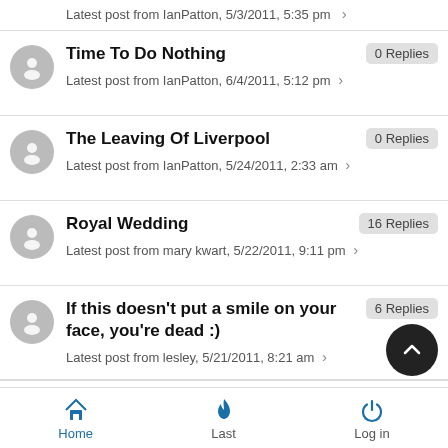Time To Do Nothing — 0 Replies — Latest post from IanPatton, 6/4/2011, 5:12 pm
The Leaving Of Liverpool — 0 Replies — Latest post from IanPatton, 5/24/2011, 2:33 am
Royal Wedding — 16 Replies — Latest post from mary kwart, 5/22/2011, 9:11 pm
If this doesn't put a smile on your face, you're dead :) — 6 Replies — Latest post from lesley, 5/21/2011, 8:21 am
For the OBC Connect t-shirt — 0 Replies
Home | Last | Log in